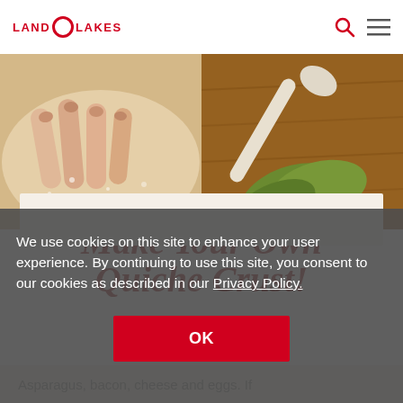LAND O LAKES
[Figure (photo): Two side-by-side food preparation photos: left shows fingers pressing dough, right shows a wooden spoon with green herbs on a wooden surface]
Yes! You Can Make Your Own Quiche Crust!
We use cookies on this site to enhance your user experience. By continuing to use this site, you consent to our cookies as described in our Privacy Policy.
OK
Asparagus, bacon, cheese and eggs. If